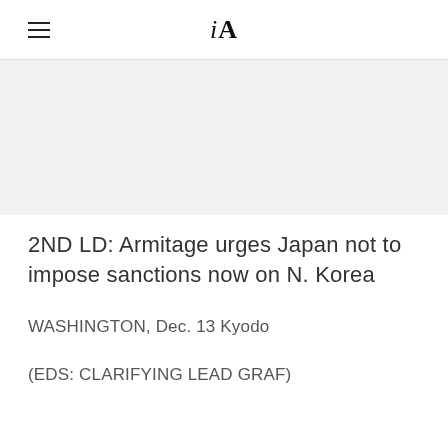iA
[Figure (other): Gray banner placeholder image area]
2ND LD: Armitage urges Japan not to impose sanctions now on N. Korea
WASHINGTON, Dec. 13 Kyodo
(EDS: CLARIFYING LEAD GRAF)